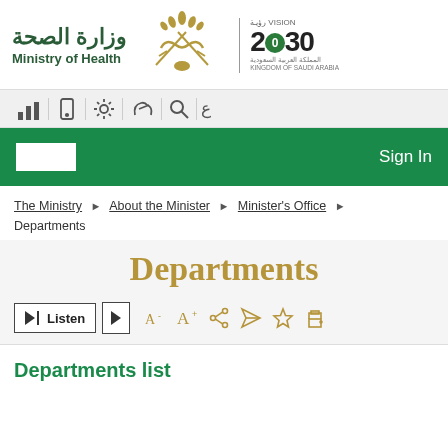وزارة الصحة - Ministry of Health - Vision 2030
[Figure (logo): Saudi Arabia Ministry of Health logo with Arabic text وزارة الصحة, Ministry of Health text, Saudi emblem, and Vision 2030 badge]
[Figure (screenshot): Website toolbar with icons: bar chart, mobile, settings, hearing accessibility, search, Arabic toggle]
[Figure (screenshot): Green navigation bar with white input box on left and Sign In text on right]
The Ministry > About the Minister > Minister's Office > Departments
Departments
[Figure (screenshot): Listen button with play controls and text size/share/bookmark/print icons: A- A+ share paper-plane star printer]
Departments list